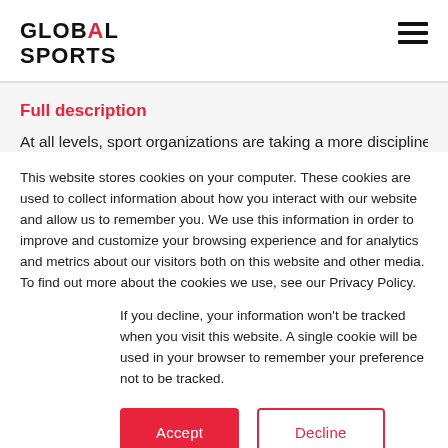GLOBAL SPORTS
Full description
At all levels, sport organizations are taking a more disciplined
This website stores cookies on your computer. These cookies are used to collect information about how you interact with our website and allow us to remember you. We use this information in order to improve and customize your browsing experience and for analytics and metrics about our visitors both on this website and other media. To find out more about the cookies we use, see our Privacy Policy.
If you decline, your information won't be tracked when you visit this website. A single cookie will be used in your browser to remember your preference not to be tracked.